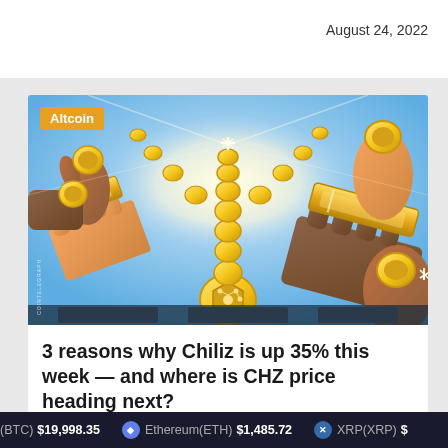August 24, 2022
[Figure (illustration): Illustration of multiple hands holding golden coins and gold bars with a Chiliz (CHZ) logo coin in the center, against a bright glowing background. An 'Altcoin' badge appears in the top-left corner. Watermark reads 'COINTELEGRAPH'.]
3 reasons why Chiliz is up 35% this week — and where is CHZ price heading next?
(BTC) $19,998.35   Ethereum(ETH) $1,485.72   XRP(XRP) $